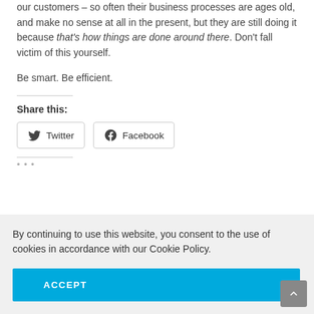our customers – so often their business processes are ages old, and make no sense at all in the present, but they are still doing it because that's how things are done around there. Don't fall victim of this yourself.
Be smart. Be efficient.
Share this:
Twitter  Facebook
By continuing to use this website, you consent to the use of cookies in accordance with our Cookie Policy.
ACCEPT